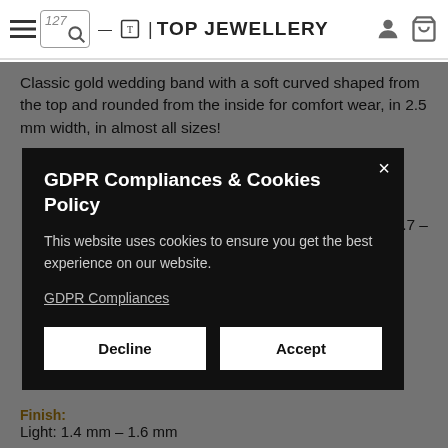TOP JEWELLERY
Classic gold wedding band with a soft curved shaped from the top and rounded from the inside for comfort wear, in 2.5 mm width, in almost all sizes!
[Figure (screenshot): GDPR Compliances & Cookies Policy modal overlay on dark background with Decline and Accept buttons]
Light: 1.4 mm – 1.6 mm